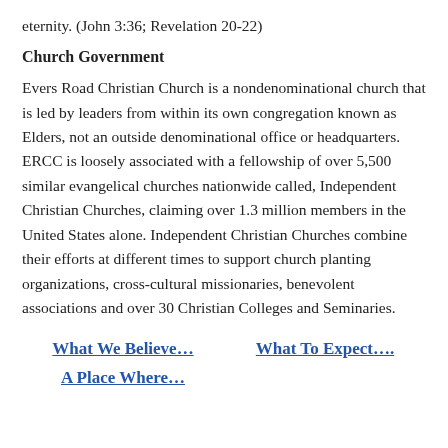eternity. (John 3:36; Revelation 20-22)
Church Government
Evers Road Christian Church is a nondenominational church that is led by leaders from within its own congregation known as Elders, not an outside denominational office or headquarters. ERCC is loosely associated with a fellowship of over 5,500 similar evangelical churches nationwide called, Independent Christian Churches, claiming over 1.3 million members in the United States alone. Independent Christian Churches combine their efforts at different times to support church planting organizations, cross-cultural missionaries, benevolent associations and over 30 Christian Colleges and Seminaries.
What We Believe…
What To Expect….
A Place Where…